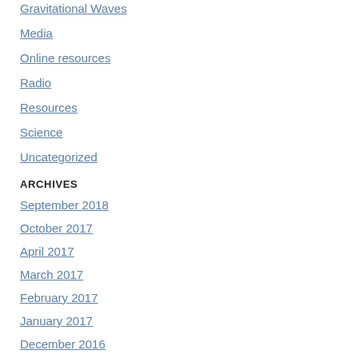Gravitational Waves
Media
Online resources
Radio
Resources
Science
Uncategorized
ARCHIVES
September 2018
October 2017
April 2017
March 2017
February 2017
January 2017
December 2016
November 2016